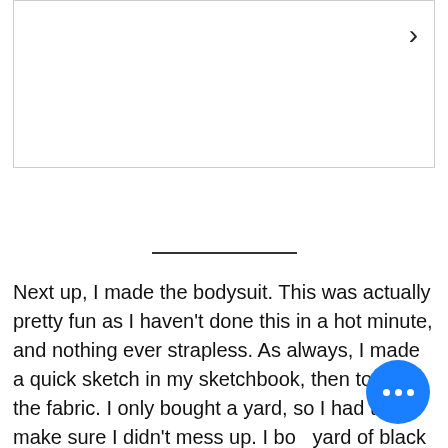[Figure (other): A white rectangular image placeholder with a right-pointing chevron arrow in the upper right corner]
Next up, I made the bodysuit. This was actually pretty fun as I haven't done this in a hot minute, and nothing ever strapless. As always, I made a quick sketch in my sketchbook, then took to the fabric. I only bought a yard, so I had to make sure I didn't mess up. I bo... yard of black 4-way stretch fabric fo... the...